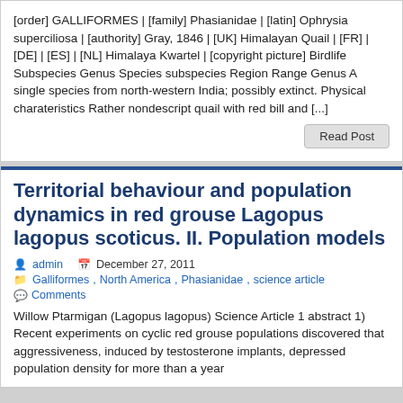[order] GALLIFORMES | [family] Phasianidae | [latin] Ophrysia superciliosa | [authority] Gray, 1846 | [UK] Himalayan Quail | [FR] | [DE] | [ES] | [NL] Himalaya Kwartel | [copyright picture] Birdlife Subspecies Genus Species subspecies Region Range Genus A single species from north-western India; possibly extinct. Physical charateristics Rather nondescript quail with red bill and [...]
Read Post
Territorial behaviour and population dynamics in red grouse Lagopus lagopus scoticus. II. Population models
admin   December 27, 2011
Galliformes, North America, Phasianidae, science article
Comments
Willow Ptarmigan (Lagopus lagopus) Science Article 1 abstract 1) Recent experiments on cyclic red grouse populations discovered that aggressiveness, induced by testosterone implants, depressed population density for more than a year